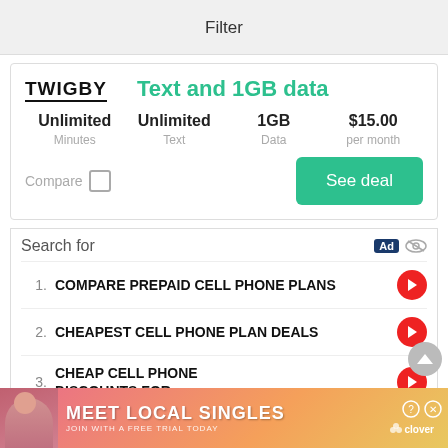Filter
TWIGBY
Text and 1GB data
| Minutes | Text | Data | per month |
| --- | --- | --- | --- |
| Unlimited | Unlimited | 1GB | $15.00 |
Compare  See deal
Search for
1. COMPARE PREPAID CELL PHONE PLANS
2. CHEAPEST CELL PHONE PLAN DEALS
3. CHEAP CELL PHONE DISCOUNTS FOR
[Figure (infographic): Bottom banner advertisement: MEET LOCAL SINGLES - JOIN WITH A FREE TRIAL TODAY - clover logo]